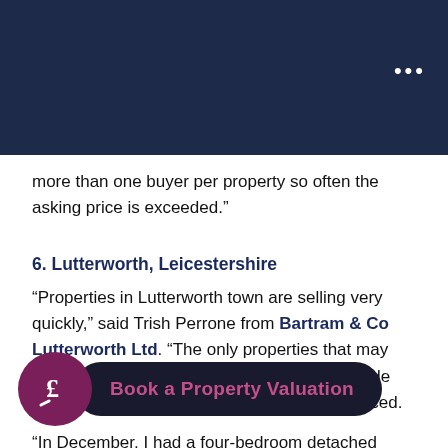more than one buyer per property so often the asking price is exceeded."
6. Lutterworth, Leicestershire
“Properties in Lutterworth town are selling very quickly,” said Trish Perrone from Bartram & Co Lutterworth Ltd. “The only properties that may take longer to sell are those a few miles outside the town, and any which are quirky or overpriced.
“In December, I had a four-bedroom detached home on the market for £350,000, which is slightly more than the market value. However, it was viewed with 24 hours and an offer was made for the asking price the following day. The couple who purchased it had previously had to chase properties in the area and didn’t want to lose the house.